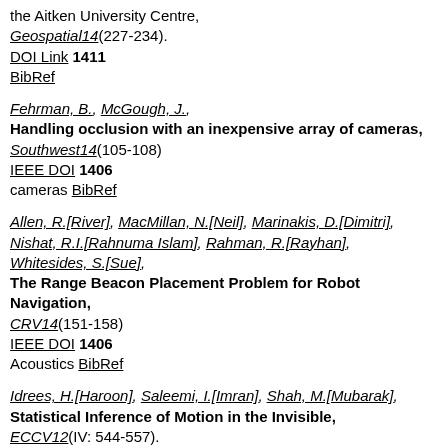the Aitken University Centre, Geospatial14(227-234). DOI Link 1411 BibRef
Fehrman, B., McGough, J., Handling occlusion with an inexpensive array of cameras, Southwest14(105-108) IEEE DOI 1406 cameras BibRef
Allen, R.[River], MacMillan, N.[Neil], Marinakis, D.[Dimitri], Nishat, R.I.[Rahnuma Islam], Rahman, R.[Rayhan], Whitesides, S.[Sue], The Range Beacon Placement Problem for Robot Navigation, CRV14(151-158) IEEE DOI 1406 Acoustics BibRef
Idrees, H.[Haroon], Saleemi, I.[Imran], Shah, M.[Mubarak], Statistical Inference of Motion in the Invisible, ECCV12(IV: 544-557). Springer DOI 1210 I.e. where can they really be? Video: